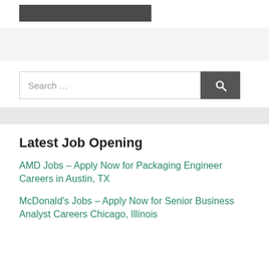[Figure (other): Dark header/logo bar placeholder]
Latest Job Opening
AMD Jobs – Apply Now for Packaging Engineer Careers in Austin, TX
McDonald's Jobs – Apply Now for Senior Business Analyst Careers Chicago, Illinois